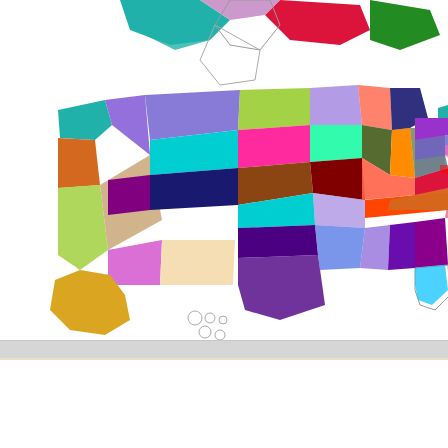[Figure (map): Colorful map of the United States with each state filled in a different color. Alaska shown in orange in lower left. Partial Canada/northern states map visible at top.]
Moderators
ScubaRx
Posted September 12, 2017